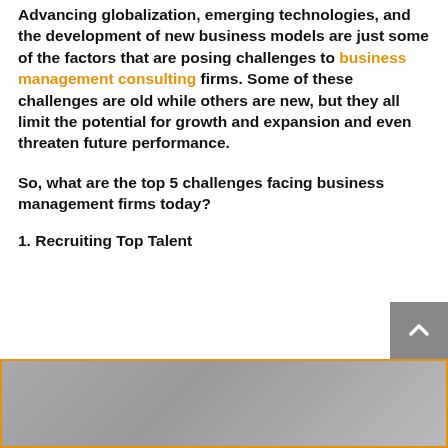Advancing globalization, emerging technologies, and the development of new business models are just some of the factors that are posing challenges to business management consulting firms. Some of these challenges are old while others are new, but they all limit the potential for growth and expansion and even threaten future performance.
So, what are the top 5 challenges facing business management firms today?
1. Recruiting Top Talent
[Figure (photo): Partially visible photo at the bottom of the page, framed with an orange border]